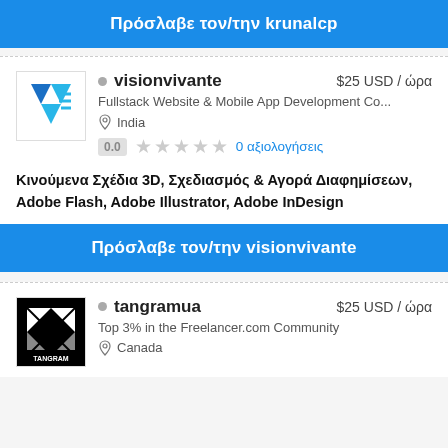Πρόσλαβε τον/την krunalcp
visionvivante — $25 USD / ώρα — Fullstack Website & Mobile App Development Co... — India — 0.0 — 0 αξιολογήσεις — Κινούμενα Σχέδια 3D, Σχεδιασμός & Αγορά Διαφημίσεων, Adobe Flash, Adobe Illustrator, Adobe InDesign
Πρόσλαβε τον/την visionvivante
tangramua — $25 USD / ώρα — Top 3% in the Freelancer.com Community — Canada